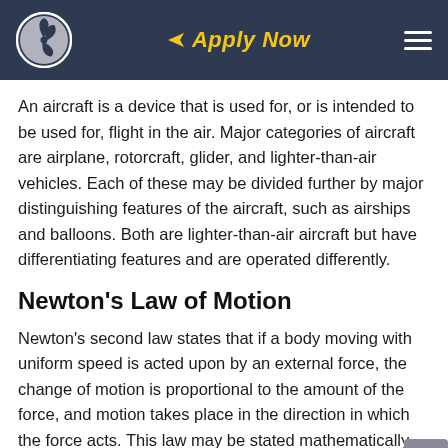Apply Now
An aircraft is a device that is used for, or is intended to be used for, flight in the air. Major categories of aircraft are airplane, rotorcraft, glider, and lighter-than-air vehicles. Each of these may be divided further by major distinguishing features of the aircraft, such as airships and balloons. Both are lighter-than-air aircraft but have differentiating features and are operated differently.
Newton's Law of Motion
Newton's second law states that if a body moving with uniform speed is acted upon by an external force, the change of motion is proportional to the amount of the force, and motion takes place in the direction in which the force acts. This law may be stated mathematically as follows: F = ma or acceleration (Force). If...